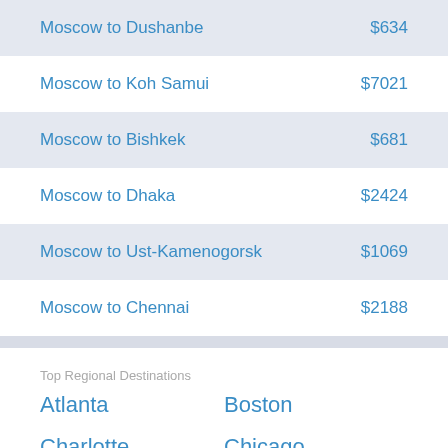| Route | Price |
| --- | --- |
| Moscow to Dushanbe | $634 |
| Moscow to Koh Samui | $7021 |
| Moscow to Bishkek | $681 |
| Moscow to Dhaka | $2424 |
| Moscow to Ust-Kamenogorsk | $1069 |
| Moscow to Chennai | $2188 |
Top Regional Destinations
Atlanta
Boston
Charlotte
Chicago